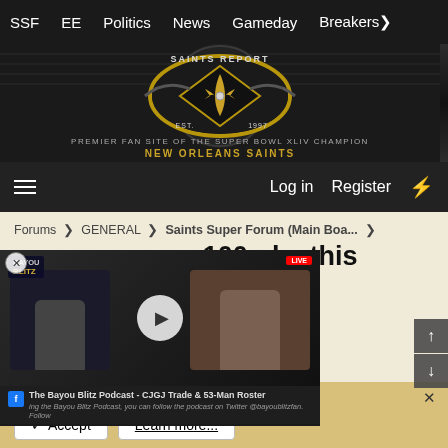SSF  EE  Politics  News  Gameday  Breakers
[Figure (logo): Saints Report logo — circular emblem with fleur-de-lis, EST 1997, gold and black design. Text: PREMIER FAN SITE OF THE SUPER BOWL XLIV CHAMPION NEW ORLEANS SAINTS]
Log in  Register
Forums > GENERAL > Saints Super Forum (Main Boa... >
Will Derrick Brooks rush for over 100yds. this
Latest activity: Dec 24, 2006
content, tailor your experience and
senting to our use of cookies.
[Figure (screenshot): Video player overlay showing The Bayou Blitz Podcast - CJGJ Trade & 53-Man Roster, with two people visible and a play button in center. Facebook icon and Groupai badge visible.]
Accept   Learn more...